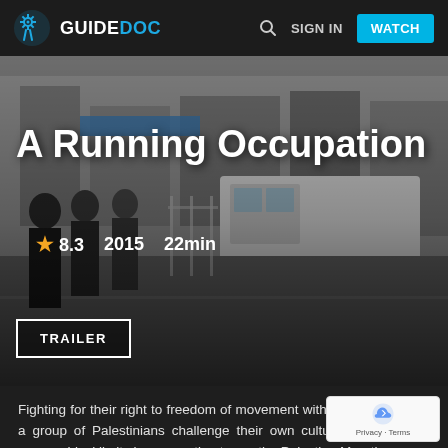GUIDEDOC | SIGN IN | WATCH
[Figure (screenshot): Street scene background showing pedestrians in a Middle Eastern city with a white van, used as the hero background for the documentary film page]
A Running Occupation
★ 8.3   2015   22min
TRAILER
Fighting for their right to freedom of movement within their own land, a group of Palestinians challenge their own cultural, political and geographical limits in preparation to run the Palestine Marathon.